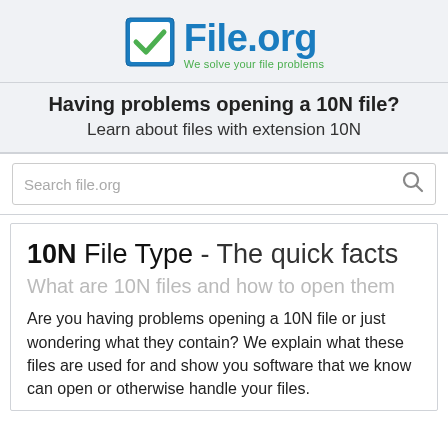[Figure (logo): File.org logo with blue checkbox icon, blue 'File.org' text, and green tagline 'We solve your file problems']
Having problems opening a 10N file?
Learn about files with extension 10N
Search file.org
10N File Type - The quick facts
What are 10N files and how to open them
Are you having problems opening a 10N file or just wondering what they contain? We explain what these files are used for and show you software that we know can open or otherwise handle your files.